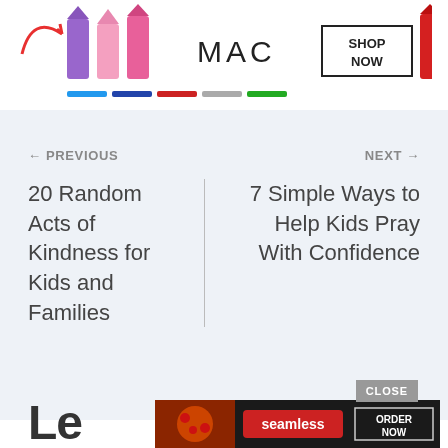[Figure (screenshot): MAC Cosmetics advertisement banner showing colorful lipsticks with 'SHOP NOW' button]
← PREVIOUS
NEXT →
20 Random Acts of Kindness for Kids and Families
7 Simple Ways to Help Kids Pray With Confidence
Le
[Figure (screenshot): Seamless food delivery advertisement showing pizza with 'seamless' branding and 'ORDER NOW' button, with a CLOSE button above it]